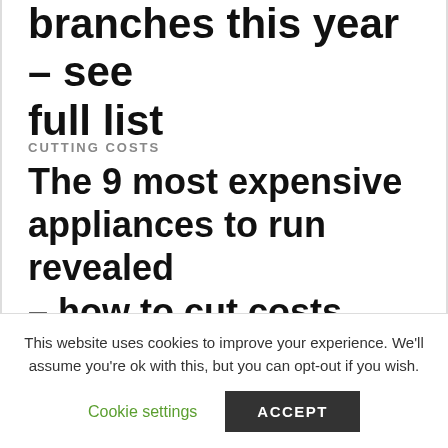branches this year – see full list
CUTTING COSTS
The 9 most expensive appliances to run revealed – how to cut costs
Amazon has previously said that any customers, either those who pay annually or monthly, who
This website uses cookies to improve your experience. We'll assume you're ok with this, but you can opt-out if you wish.
Cookie settings
ACCEPT